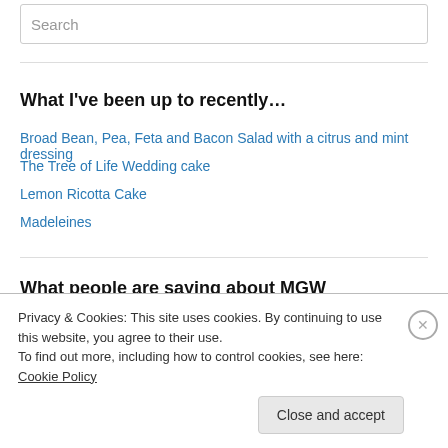Search
What I've been up to recently…
Broad Bean, Pea, Feta and Bacon Salad with a citrus and mint dressing
The Tree of Life Wedding cake
Lemon Ricotta Cake
Madeleines
What people are saying about MGW
Privacy & Cookies: This site uses cookies. By continuing to use this website, you agree to their use.
To find out more, including how to control cookies, see here: Cookie Policy
Close and accept